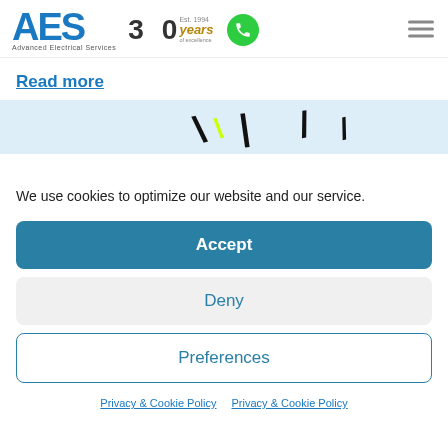[Figure (logo): AES Advanced Electrical Services logo with 30 years of excellence badge and green phone icon, plus hamburger menu icon]
Read more
[Figure (illustration): Partially visible banner with lightning bolt / slash marks on a light blue background]
We use cookies to optimize our website and our service.
Accept
Deny
Preferences
Privacy & Cookie Policy  Privacy & Cookie Policy